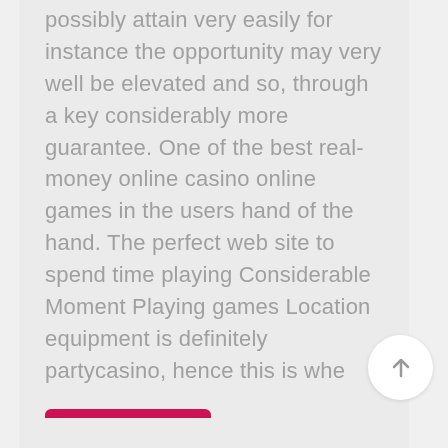possibly attain very easily for instance the opportunity may very well be elevated and so, through a key considerably more guarantee. One of the best real-money online casino online games in the users hand of the hand. The perfect web site to spend time playing Considerable Moment Playing games Location equipment is definitely partycasino, hence this is whe
READ MORE